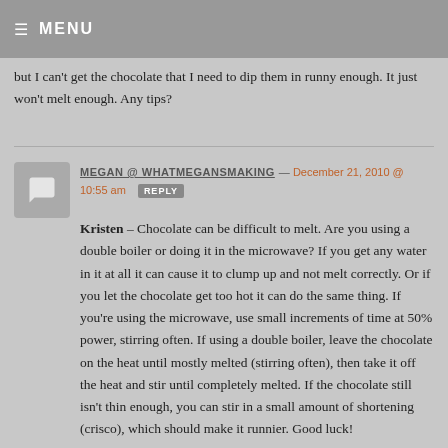≡ MENU
but I can't get the chocolate that I need to dip them in runny enough. It just won't melt enough. Any tips?
MEGAN @ WHATMEGANSMAKING — December 21, 2010 @ 10:55 am REPLY
Kristen – Chocolate can be difficult to melt. Are you using a double boiler or doing it in the microwave? If you get any water in it at all it can cause it to clump up and not melt correctly. Or if you let the chocolate get too hot it can do the same thing. If you're using the microwave, use small increments of time at 50% power, stirring often. If using a double boiler, leave the chocolate on the heat until mostly melted (stirring often), then take it off the heat and stir until completely melted. If the chocolate still isn't thin enough, you can stir in a small amount of shortening (crisco), which should make it runnier. Good luck!